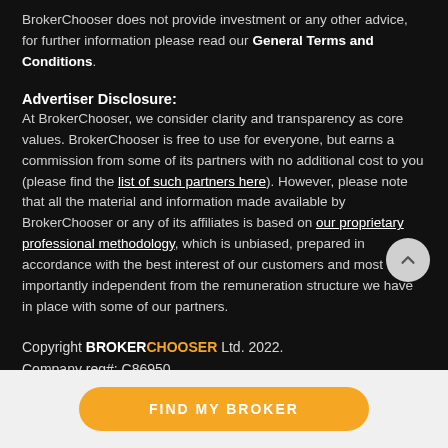BrokerChooser does not provide investment or any other advice, for further information please read our General Terms and Conditions.
Advertiser Disclosure:
At BrokerChooser, we consider clarity and transparency as core values. BrokerChooser is free to use for everyone, but earns a commission from some of its partners with no additional cost to you (please find the list of such partners here). However, please note that all the material and information made available by BrokerChooser or any of its affiliates is based on our proprietary professional methodology, which is unbiased, prepared in accordance with the best interest of our customers and most importantly independent from the remuneration structure we have in place with some of our partners.
Copyright BROKERCHOOSER Ltd. 2022. Company reg#: C86950
Privacy Policy
Cookie Policy
FIND MY BROKER